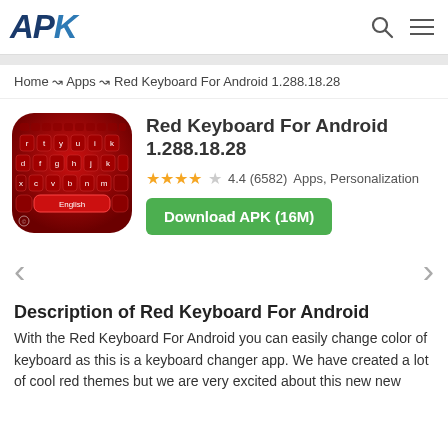APK
Home → Apps → Red Keyboard For Android 1.288.18.28
[Figure (screenshot): Red Keyboard For Android app icon — a red keyboard with white letter keys on a dark background, showing keys r t y u i, d f g h j k, x c v b n m, and an English spacebar]
Red Keyboard For Android 1.288.18.28
★★★★½ 4.4 (6582)  Apps, Personalization
Download APK (16M)
Description of Red Keyboard For Android
With the Red Keyboard For Android you can easily change color of keyboard as this is a keyboard changer app. We have created a lot of cool red themes but we are very excited about this new new